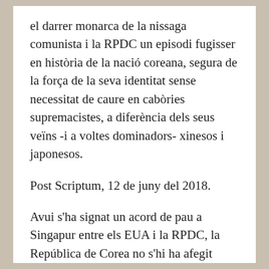el darrer monarca de la nissaga comunista i la RPDC un episodi fugisser en història de la nació coreana, segura de la força de la seva identitat sense necessitat de caure en cabòries supremacistes, a diferència dels seus veïns -i a voltes dominadors- xinesos i japonesos.
Post Scriptum, 12 de juny del 2018.
Avui s'ha signat un acord de pau a Singapur entre els EUA i la RPDC, la República de Corea no s'hi ha afegit formalment perquè tampoc va signar l'armistici del 1953, però el seu president Moon Jae-un és el veritable artífex del procés. L'editorial d'avui de The Korea